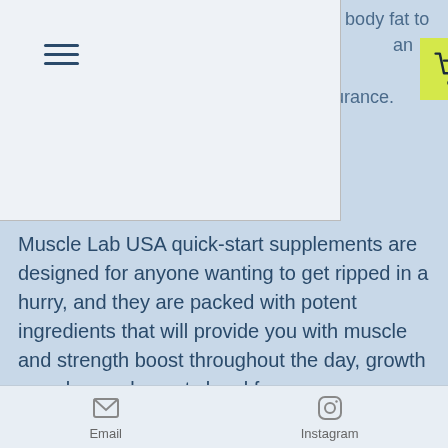[Figure (screenshot): Mobile website screenshot showing a hamburger menu icon and an ONLINE SHOP button with shopping cart icon overlaying partial text]
who want to keep your body fat to a minimum while i[ncrease] muscle growth and incre[ase] [speed an]d endurance.
Muscle Lab USA quick-start supplements are designed for anyone wanting to get ripped in a hurry, and they are packed with potent ingredients that will provide you with muscle and strength boost throughout the day, growth muscle supplements legal for.
Quick-start supplements provide a convenient way to boost your muscle growth and performance throughout the day, legal supplements for muscle growth. Quick-start supplements include instant muscle growth boosters such as Leucine, L-Arginine, Isoleucine, Taurine, and Glutamine, as well
Email    Instagram